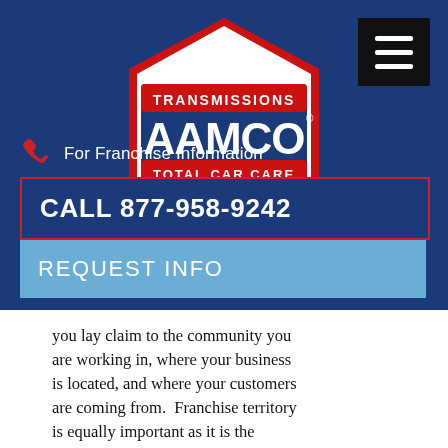[Figure (logo): AAMCO Transmissions Total Car Care logo — red hexagonal shield with white AAMCO text and blue/white banner]
For Franchise Information
CALL 877-958-9242
REQUEST INFO
you lay claim to the community you are working in, where your business is located, and where your customers are coming from. Franchise territory is equally important as it is the geographical area you receive as a franchisee where you are authorized